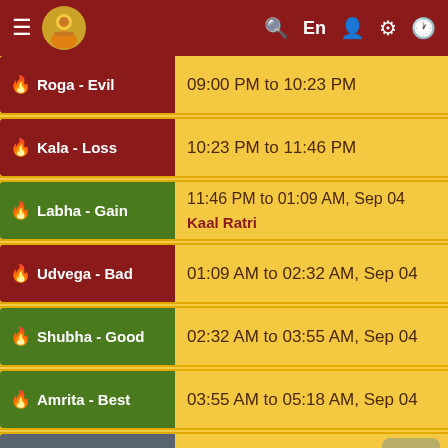Menu | Guru icon | Search | En | User | Settings | Clock
Roga - Evil: 09:00 PM to 10:23 PM
Kala - Loss: 10:23 PM to 11:46 PM
Labha - Gain: 11:46 PM to 01:09 AM, Sep 04  Kaal Ratri
Udvega - Bad: 01:09 AM to 02:32 AM, Sep 04
Shubha - Good: 02:32 AM to 03:55 AM, Sep 04
Amrita - Best: 03:55 AM to 05:18 AM, Sep 04
Chara - Neutral: 05:18 AM to 06:42 AM, Sep 04
Notes: All timings are represented in 12-hour notation in local time of Ashburn, United States with DST adjustment (if applicable). Hours which are past midnight are suffixed with next day date. In Panchang day starts and ends with sunrise.
Auspicious   Inauspicious   Normal   Rahu Kala